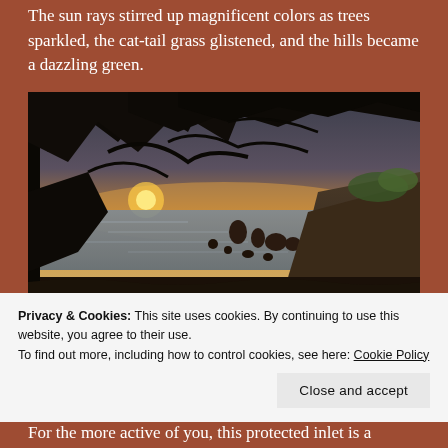The sun rays stirred up magnificent colors as trees sparkled, the cat-tail grass glistened, and the hills became a dazzling green.
[Figure (photo): Coastal sunset scene viewed through dark silhouetted tree branches, showing ocean with rocks and cliffs on the right, golden and orange sky near the horizon.]
Privacy & Cookies: This site uses cookies. By continuing to use this website, you agree to their use.
To find out more, including how to control cookies, see here: Cookie Policy
For the more active of you, this protected inlet is a